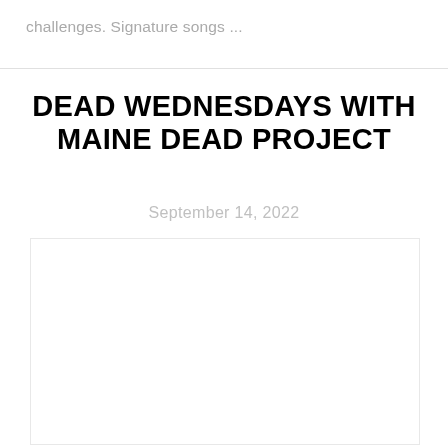challenges.  Signature songs ...
DEAD WEDNESDAYS WITH MAINE DEAD PROJECT
September 14, 2022
[Figure (other): Empty white image box with light border]